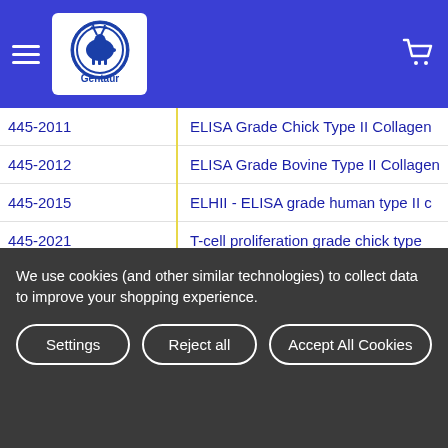[Figure (logo): Gentaur company logo with deer and circular blue border on white background in blue navigation header bar]
| ID | Product Name |
| --- | --- |
| 445-2011 | ELISA Grade Chick Type II Collagen |
| 445-2012 | ELISA Grade Bovine Type II Collagen |
| 445-2015 | ELHII - ELISA grade human type II c |
| 445-2021 | T-cell proliferation grade chick type |
| 445-3010 | Mouse serum anti-OVA IgE antibody assay |
| 445-53010 | Arthrogen-CIA 5-clone cocktail kit, |
| 445-53040 | Arthrogen-CIA 5 clone monoclonal antibod |
| 445-53100 | Arthrogen-CIA 5 clone monoclonal antibod |
We use cookies (and other similar technologies) to collect data to improve your shopping experience.
Settings | Reject all | Accept All Cookies